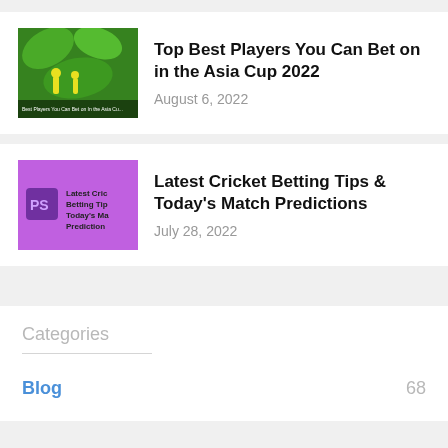[Figure (photo): Green cricket-themed image with yellow silhouettes of players and text overlay about Asia Cup betting players]
Top Best Players You Can Bet on in the Asia Cup 2022
August 6, 2022
[Figure (photo): Purple background image with text Latest Cricket Betting Tips Today's Match Predictions and a PS logo icon]
Latest Cricket Betting Tips & Today's Match Predictions
July 28, 2022
Categories
Blog 68